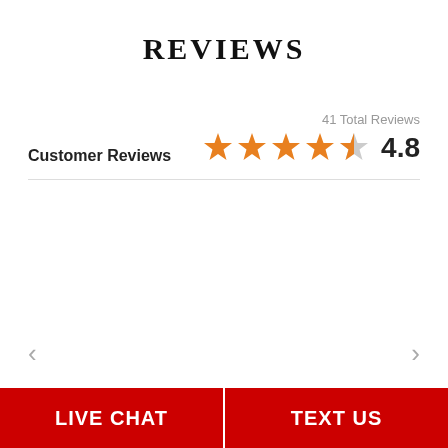Reviews
Customer Reviews
[Figure (other): Star rating display showing 4.8 out of 5 stars with 41 Total Reviews. Four full orange stars, one half-orange/half-gray star, and the score 4.8.]
LIVE CHAT   TEXT US